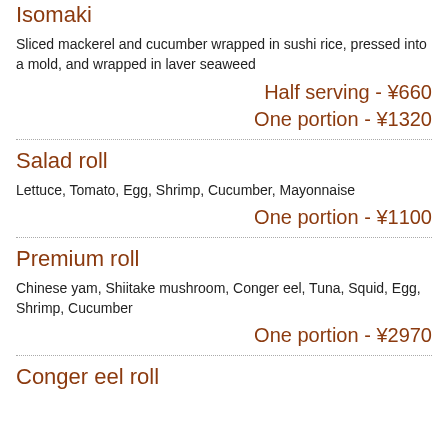Isomaki
Sliced mackerel and cucumber wrapped in sushi rice, pressed into a mold, and wrapped in laver seaweed
Half serving - ¥660
One portion - ¥1320
Salad roll
Lettuce, Tomato, Egg, Shrimp, Cucumber, Mayonnaise
One portion - ¥1100
Premium roll
Chinese yam, Shiitake mushroom, Conger eel, Tuna, Squid, Egg, Shrimp, Cucumber
One portion - ¥2970
Conger eel roll